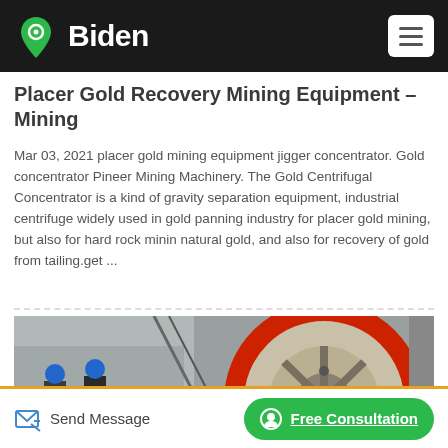Biden
Placer Gold Recovery Mining Equipment – Mining
Mar 03, 2021 placer gold mining equipment jigger concentrator. Gold concentrator Pineer Mining Machinery. The Gold Centrifugal Concentrator is a kind of gravity separation equipment, industrial centrifuge widely used in gold panning industry for placer gold mining, but also for hard rock mining natural gold, and also for recovery of gold from tailing.get ...
[Figure (photo): Industrial mining machinery with a large red-rimmed wheel/roller in the foreground and workers wearing blue hard hats in the background]
Send Message   Free Consultation